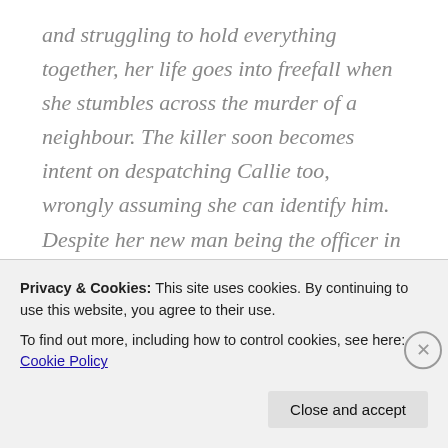and struggling to hold everything together, her life goes into freefall when she stumbles across the murder of a neighbour. The killer soon becomes intent on despatching Callie too, wrongly assuming she can identify him. Despite her new man being the officer in charge of the investigation, Callie's in great danger – and it soon becomes clear the murderer isn't too worried whom he kills or maims in his quest to eliminate her. No one is safe and the killer seems to know her every movement. With no resolution in sight, Callie feels she has no choice but to take matters into
Privacy & Cookies: This site uses cookies. By continuing to use this website, you agree to their use.
To find out more, including how to control cookies, see here: Cookie Policy
Close and accept